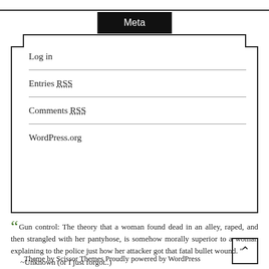Meta
Log in
Entries RSS
Comments RSS
WordPress.org
“” Gun control: The theory that a woman found dead in an alley, raped, and then strangled with her pantyhose, is somehow morally superior to a woman explaining to the police just how her attacker got that fatal bullet wound. "
~Unknown (or I just forgot..)
Theme by Scissor Themes Proudly powered by WordPress